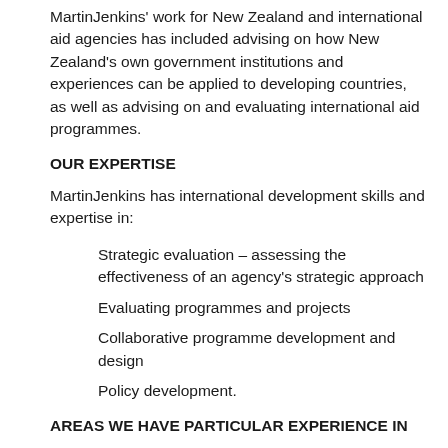MartinJenkins' work for New Zealand and international aid agencies has included advising on how New Zealand's own government institutions and experiences can be applied to developing countries, as well as advising on and evaluating international aid programmes.
OUR EXPERTISE
MartinJenkins has international development skills and expertise in:
Strategic evaluation – assessing the effectiveness of an agency's strategic approach
Evaluating programmes and projects
Collaborative programme development and design
Policy development.
AREAS WE HAVE PARTICULAR EXPERIENCE IN
Education
Tourism